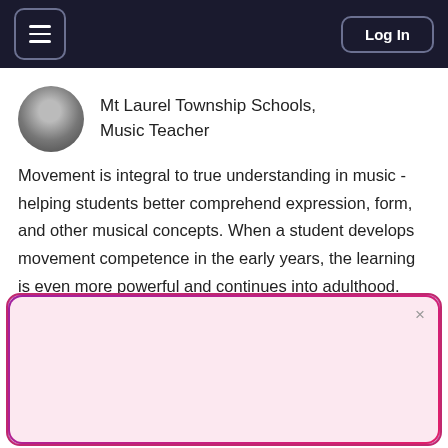Log In
Mt Laurel Township Schools, Music Teacher
Movement is integral to true understanding in music - helping students better comprehend expression, form, and other musical concepts. When a student develops movement competence in the early years, the learning is even more powerful and continues into adulthood. Learn how to boldly and joyfully
[Figure (screenshot): Popup overlay with gradient border. Contains heading 'Organizing an event?', subtext 'Publish your own event site with Emamo.' and a pink 'Create Event' button. Close (x) button top right.]